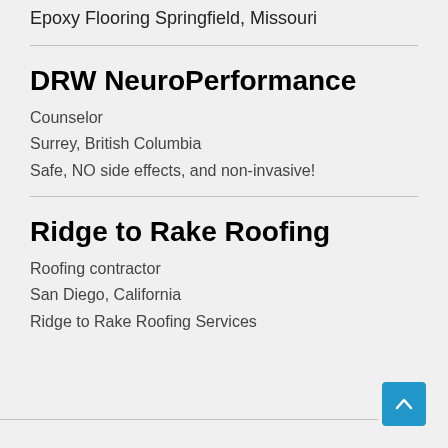Epoxy Flooring Springfield, Missouri
DRW NeuroPerformance
Counselor
Surrey, British Columbia
Safe, NO side effects, and non-invasive!
Ridge to Rake Roofing
Roofing contractor
San Diego, California
Ridge to Rake Roofing Services